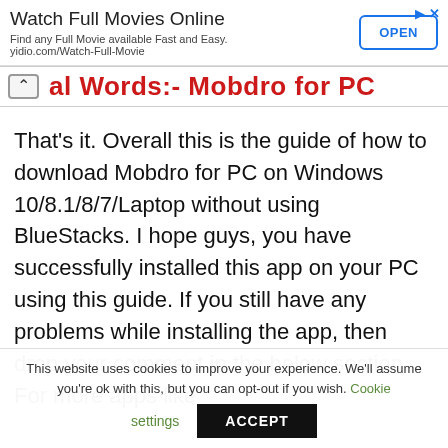[Figure (screenshot): Advertisement banner: Watch Full Movies Online - Find any Full Movie available Fast and Easy. yidio.com/Watch-Full-Movie. With OPEN button.]
al Words:- Mobdro for PC
That’s it. Overall this is the guide of how to download Mobdro for PC on Windows 10/8.1/8/7/Laptop without using BlueStacks. I hope guys, you have successfully installed this app on your PC using this guide. If you still have any problems while installing the app, then drop your comment in the below section. For more apps like
This website uses cookies to improve your experience. We'll assume you're ok with this, but you can opt-out if you wish. Cookie settings ACCEPT